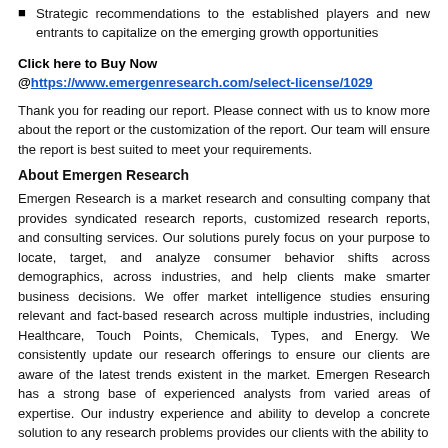Strategic recommendations to the established players and new entrants to capitalize on the emerging growth opportunities
Click here to Buy Now @https://www.emergenresearch.com/select-license/1029
Thank you for reading our report. Please connect with us to know more about the report or the customization of the report. Our team will ensure the report is best suited to meet your requirements.
About Emergen Research
Emergen Research is a market research and consulting company that provides syndicated research reports, customized research reports, and consulting services. Our solutions purely focus on your purpose to locate, target, and analyze consumer behavior shifts across demographics, across industries, and help clients make smarter business decisions. We offer market intelligence studies ensuring relevant and fact-based research across multiple industries, including Healthcare, Touch Points, Chemicals, Types, and Energy. We consistently update our research offerings to ensure our clients are aware of the latest trends existent in the market. Emergen Research has a strong base of experienced analysts from varied areas of expertise. Our industry experience and ability to develop a concrete solution to any research problems provides our clients with the ability to